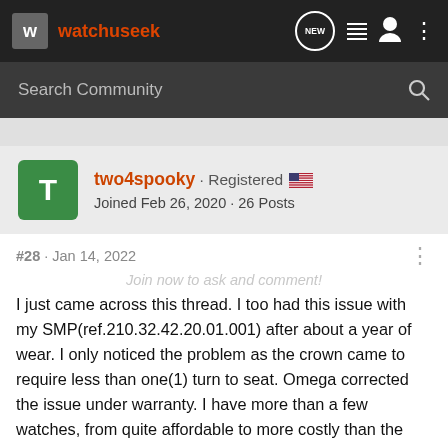watchuseek
Search Community
two4spooky · Registered   Joined Feb 26, 2020 · 26 Posts
#28 · Jan 14, 2022
Join now to ask and comment!
I just came across this thread. I too had this issue with my SMP(ref.210.32.42.20.01.001) after about a year of wear. I only noticed the problem as the crown came to require less than one(1) turn to seat. Omega corrected the issue under warranty. I have more than a few watches, from quite affordable to more costly than the SMP, with more wrist time. This is the first time I have had an issue with the crown threads on any watch. Still love the SMP though. It is my current everyday watch and has